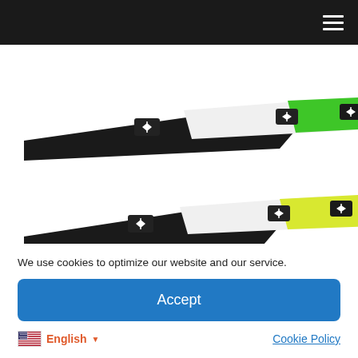Navigation bar with hamburger menu
[Figure (photo): Two rows of archery arrow vanes/fletches: top row shows black, white, and green vanes with brand logo; bottom row shows black, white, and yellow-green vanes with brand logo]
We use cookies to optimize our website and our service.
Accept
English ▾  Cookie Policy